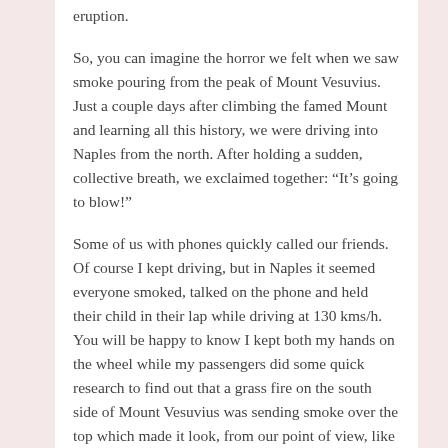eruption.
So, you can imagine the horror we felt when we saw smoke pouring from the peak of Mount Vesuvius. Just a couple days after climbing the famed Mount and learning all this history, we were driving into Naples from the north. After holding a sudden, collective breath, we exclaimed together: “It’s going to blow!”
Some of us with phones quickly called our friends. Of course I kept driving, but in Naples it seemed everyone smoked, talked on the phone and held their child in their lap while driving at 130 kms/h. You will be happy to know I kept both my hands on the wheel while my passengers did some quick research to find out that a grass fire on the south side of Mount Vesuvius was sending smoke over the top which made it look, from our point of view, like the warning signs of an immanent eruption.
Indeed we are terrified of fire when it is out of our control. I’m not talking here about the pristine and contained burn